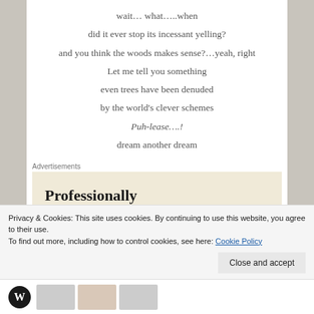wait… what…..when
did it ever stop its incessant yelling?
and you think the woods makes sense?…yeah, right
Let me tell you something
even trees have been denuded
by the world's clever schemes
Puh-lease….!
dream another dream
Advertisements
[Figure (screenshot): Advertisement banner with beige background showing text: Professionally designed sites in less (cut off)]
Privacy & Cookies: This site uses cookies. By continuing to use this website, you agree to their use.
To find out more, including how to control cookies, see here: Cookie Policy